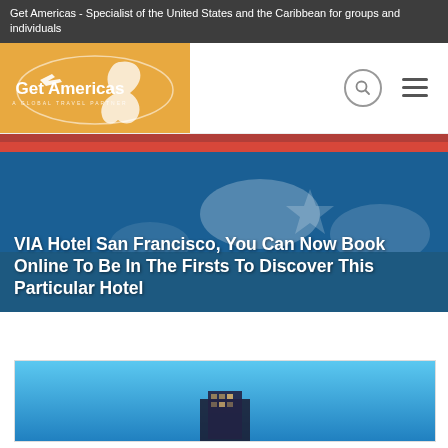Get Americas - Specialist of the United States and the Caribbean for groups and individuals
[Figure (logo): Get Americas - A Global Travel Partner logo on golden/orange background with map silhouette]
VIA Hotel San Francisco, You Can Now Book Online To Be In The Firsts To Discover This Particular Hotel
[Figure (photo): Blue sky with top of a modern hotel building visible at bottom center]